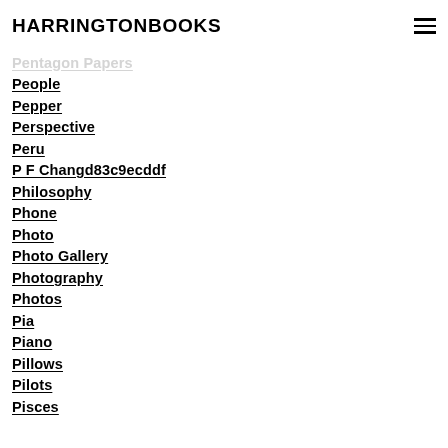HARRINGTONBOOKS
Pentagon Papers
People
Pepper
Perspective
Peru
P F Changd83c9ecddf
Philosophy
Phone
Photo
Photo Gallery
Photography
Photos
Pia
Piano
Pillows
Pilots
Pisces